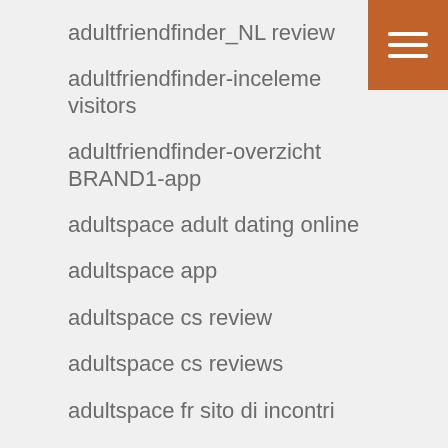adultfriendfinder_NL review
adultfriendfinder-inceleme visitors
adultfriendfinder-overzicht BRAND1-app
adultspace adult dating online
adultspace app
adultspace cs review
adultspace cs reviews
adultspace fr sito di incontri
Adultspace jak u?ywa?
adultspace Premium-APK
adultspace reviews
adultspace search
Adultspace sul web